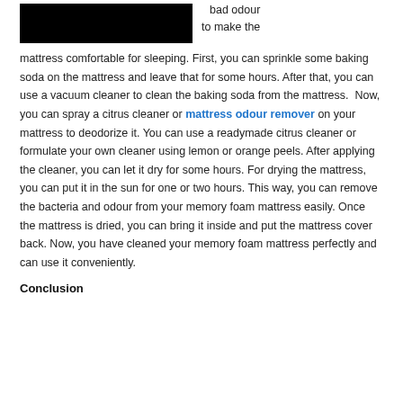[Figure (photo): Partial image of a mattress, mostly cropped, with a black redacted/cropped rectangle in the lower portion.]
bad odour to make the
mattress comfortable for sleeping. First, you can sprinkle some baking soda on the mattress and leave that for some hours. After that, you can use a vacuum cleaner to clean the baking soda from the mattress. Now, you can spray a citrus cleaner or mattress odour remover on your mattress to deodorize it. You can use a readymade citrus cleaner or formulate your own cleaner using lemon or orange peels. After applying the cleaner, you can let it dry for some hours. For drying the mattress, you can put it in the sun for one or two hours. This way, you can remove the bacteria and odour from your memory foam mattress easily. Once the mattress is dried, you can bring it inside and put the mattress cover back. Now, you have cleaned your memory foam mattress perfectly and can use it conveniently.
Conclusion